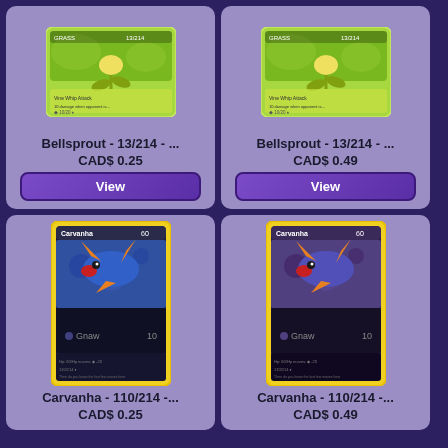[Figure (illustration): Bellsprout Pokemon card - green colored card 13/214]
Bellsprout - 13/214 - ...
CAD$ 0.25
View
[Figure (illustration): Bellsprout Pokemon card - green colored card 13/214]
Bellsprout - 13/214 - ...
CAD$ 0.49
View
[Figure (illustration): Carvanha Pokemon card - yellow border dark card 110/214]
Carvanha - 110/214 -...
CAD$ 0.25
[Figure (illustration): Carvanha Pokemon card - yellow border dark card 110/214]
Carvanha - 110/214 -...
CAD$ 0.49